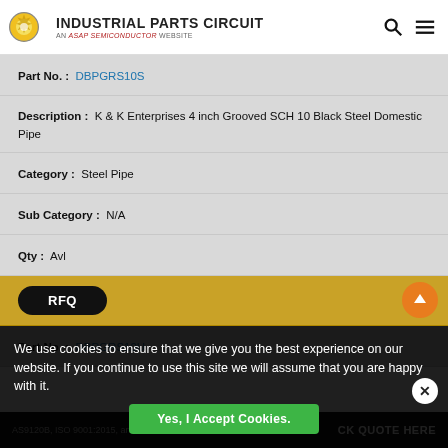Industrial Parts Circuit - An ASAP Semiconductor Website
Part No. : DBPGRS10S
Description : K & K Enterprises 4 inch Grooved SCH 10 Black Steel Domestic Pipe
Category : Steel Pipe
Sub Category : N/A
Qty : Avl
RFQ
Part No. : DBPGRS10U
We use cookies to ensure that we give you the best experience on our website. If you continue to use this site we will assume that you are happy with it.
Yes, I Accept Cookies.
AS9120B, ISO 9001:2015, and FAA AC 0056B Accredited — CLICK QUOTE HERE